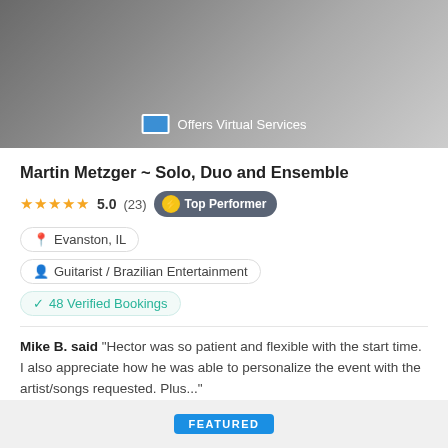[Figure (photo): Hero image showing a performer/guitarist in dark clothing, with an 'Offers Virtual Services' badge overlay at the bottom center]
Martin Metzger ~ Solo, Duo and Ensemble
★★★★★ 5.0 (23) Top Performer
Evanston, IL
Guitarist / Brazilian Entertainment
48 Verified Bookings
Mike B. said "Hector was so patient and flexible with the start time. I also appreciate how he was able to personalize the event with the artist/songs requested. Plus..."
Fast Free Quote
FEATURED